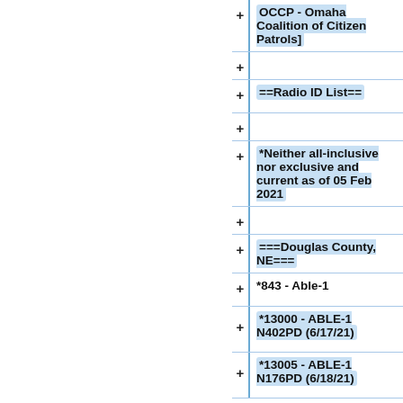+OCCP - Omaha Coalition of Citizen Patrols]
+
+==Radio ID List==
+
+*Neither all-inclusive nor exclusive and current as of 05 Feb 2021
+
+===Douglas County, NE===
+*843 - Able-1
+*13000 - ABLE-1 N402PD (6/17/21)
+*13005 - ABLE-1 N176PD (6/18/21)